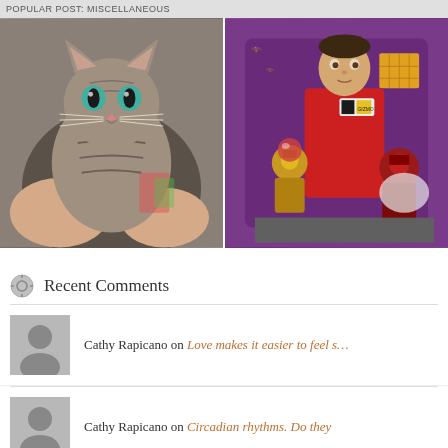POPULAR POST: MISCELLANEOUS
[Figure (photo): Two side-by-side photos: left shows a grey tabby cat with striking blue-green eyes being held by a person's hands; right shows a man in a red jumpsuit (labeled Gizmonics) posing with robot figurines against a purple background, reminiscent of Mystery Science Theater 3000.]
Recent Comments
Cathy Rapicano on Love makes it easier to feel s...
Cathy Rapicano on Circadian rhythms. Do they